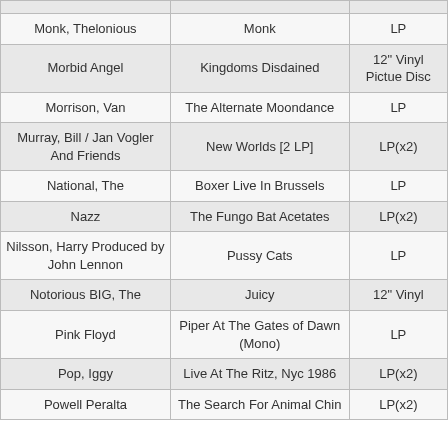| Artist | Album | Format |
| --- | --- | --- |
|  |  |  |
| Monk, Thelonious | Monk | LP |
| Morbid Angel | Kingdoms Disdained | 12" Vinyl Pictue Disc |
| Morrison, Van | The Alternate Moondance | LP |
| Murray, Bill / Jan Vogler And Friends | New Worlds [2 LP] | LP(x2) |
| National, The | Boxer Live In Brussels | LP |
| Nazz | The Fungo Bat Acetates | LP(x2) |
| Nilsson, Harry Produced by John Lennon | Pussy Cats | LP |
| Notorious BIG, The | Juicy | 12" Vinyl |
| Pink Floyd | Piper At The Gates of Dawn (Mono) | LP |
| Pop, Iggy | Live At The Ritz, Nyc 1986 | LP(x2) |
| Powell Peralta | The Search For Animal Chin | LP(x2) |